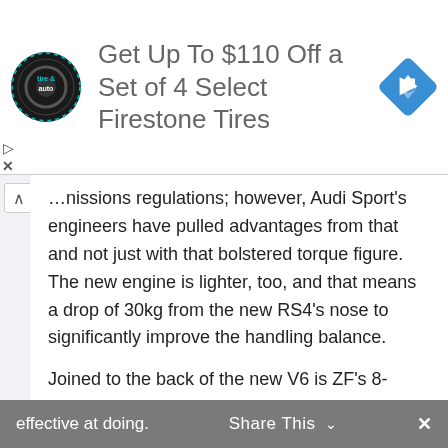[Figure (logo): Tire and auto service logo — circular black badge with 'tire & auto' text]
Get Up To $110 Off a Set of 4 Select Firestone Tires
[Figure (logo): Blue diamond navigation/directions icon with arrow]
…nissions regulations; however, Audi Sport's engineers have pulled advantages from that and not just with that bolstered torque figure. The new engine is lighter, too, and that means a drop of 30kg from the new RS4's nose to significantly improve the handling balance.
Joined to the back of the new V6 is ZF's 8-speed automatic transmission – a move away from the 7-speed dual-clutch unit we've grown used to seeing from Audi in numerous models for some time. It can be operated manually via paddles or with the gear selector when in the relevant mode – of course, it can also be simply left to do everything by itself, which it's very effective at doing.
effective at doing.   Share This   ×